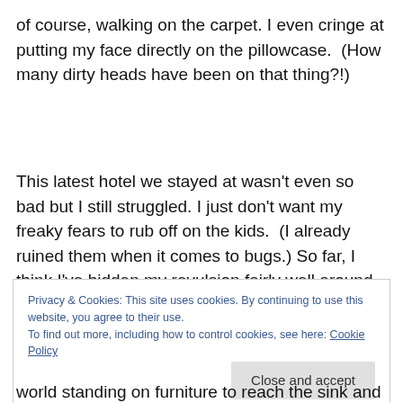of course, walking on the carpet. I even cringe at putting my face directly on the pillowcase.  (How many dirty heads have been on that thing?!)
This latest hotel we stayed at wasn't even so bad but I still struggled. I just don't want my freaky fears to rub off on the kids.  (I already ruined them when it comes to bugs.) So far, I think I've hidden my revulsion fairly well around them.
Privacy & Cookies: This site uses cookies. By continuing to use this website, you agree to their use.
To find out more, including how to control cookies, see here: Cookie Policy
world standing on furniture to reach the sink and